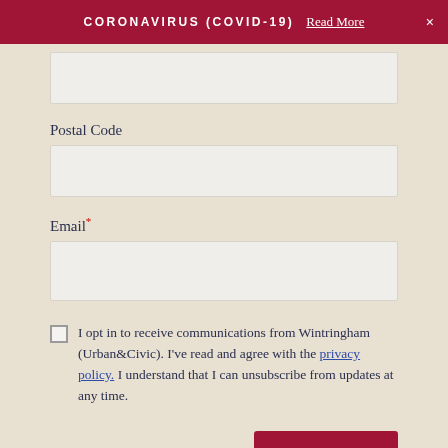CORONAVIRUS (COVID-19)  Read More  ×
Postal Code
Email*
I opt in to receive communications from Wintringham (Urban&Civic). I've read and agree with the privacy policy. I understand that I can unsubscribe from updates at any time.
Subscribe